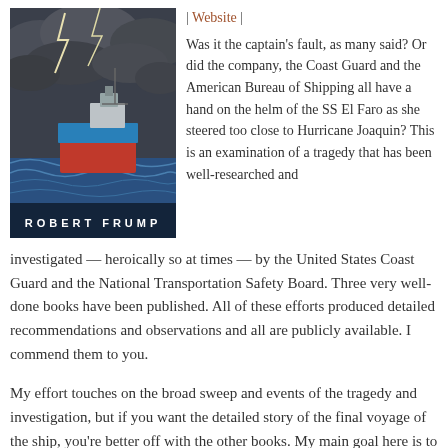[Figure (illustration): Book cover showing a cargo ship sailing in stormy seas with lightning, dark clouds. Text at bottom: ROBERT FRUMP]
| Website |
Was it the captain's fault, as many said? Or did the company, the Coast Guard and the American Bureau of Shipping all have a hand on the helm of the SS El Faro as she steered too close to Hurricane Joaquin? This is an examination of a tragedy that has been well-researched and investigated — heroically so at times — by the United States Coast Guard and the National Transportation Safety Board. Three very well-done books have been published. All of these efforts produced detailed recommendations and observations and all are publicly available. I commend them to you.
My effort touches on the broad sweep and events of the tragedy and investigation, but if you want the detailed story of the final voyage of the ship, you're better off with the other books. My main goal here is to show how the SS El Faro fit into a larger system and culture — one that I have been covering off and on as a journalist and author for 38 years.